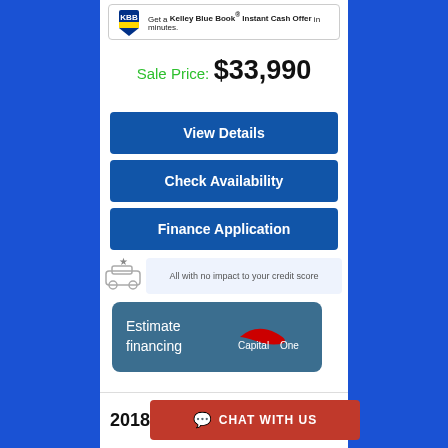[Figure (other): Kelley Blue Book logo banner - Get a Kelley Blue Book Instant Cash Offer in minutes]
Sale Price: $33,990
View Details
Check Availability
Finance Application
[Figure (other): Car with star icon illustration]
All with no impact to your credit score
[Figure (other): Estimate financing button with Capital One logo]
2018 Fo
CHAT WITH US